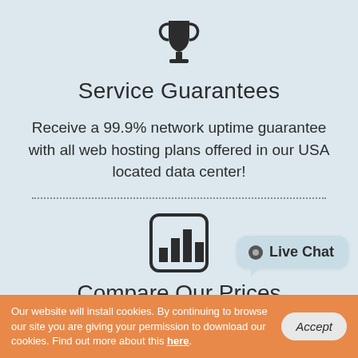[Figure (illustration): Trophy cup icon in dark gray/black]
Service Guarantees
Receive a 99.9% network uptime guarantee with all web hosting plans offered in our USA located data center!
[Figure (illustration): Bar chart icon in a rounded square border]
Compare Our Prices
cloud hosting USA packages at budget–
Live Chat
Our website will install cookies. By continuing to browse our site you are giving your permission to download our cookies. Find out more about this here.